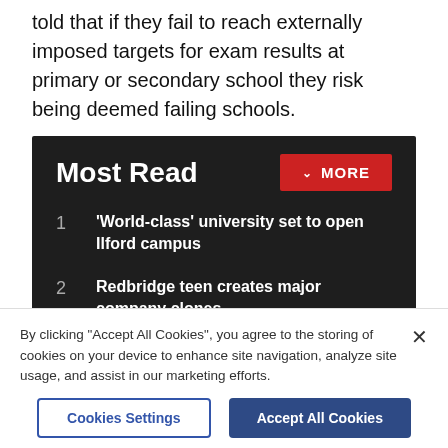told that if they fail to reach externally imposed targets for exam results at primary or secondary school they risk being deemed failing schools.
Most Read
1  'World-class' university set to open Ilford campus
2  Redbridge teen creates major company clones
3  Central part-suspension lifted but delays remain after fire at Bank station
Receive the top news, sport and things to do, sent to your inbox every Tuesday.
By clicking "Accept All Cookies", you agree to the storing of cookies on your device to enhance site navigation, analyze site usage, and assist in our marketing efforts.